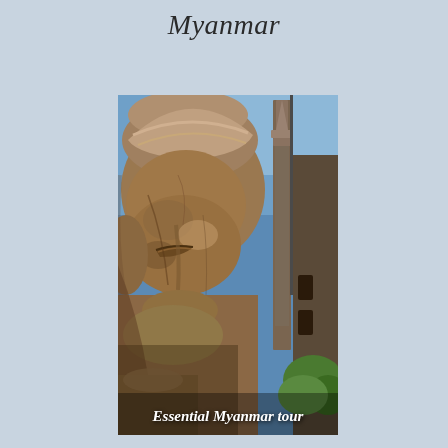Myanmar
[Figure (photo): Close-up of an ancient stone Buddha or deity face carving/sculpture at a temple in Myanmar (Bagan), with a tall pagoda/stupa visible in the background against a blue sky with green foliage.]
Essential Myanmar tour